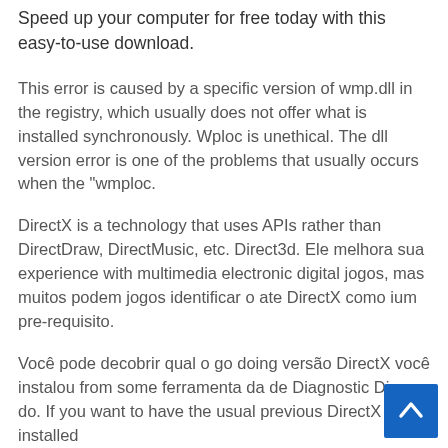Speed up your computer for free today with this easy-to-use download.
This error is caused by a specific version of wmp.dll in the registry, which usually does not offer what is installed synchronously. Wploc is unethical. The dll version error is one of the problems that usually occurs when the "wmploc.
DirectX is a technology that uses APIs rather than DirectDraw, DirectMusic, etc. Direct3d. Ele melhora sua experience with multimedia electronic digital jogos, mas muitos podem jogos identificar o ate DirectX como ium pre-requisito.
Você pode decobrir qual o go doing versão DirectX você instalou from some ferramenta da de Diagnostic DirectX do. If you want to have the usual previous DirectX installed